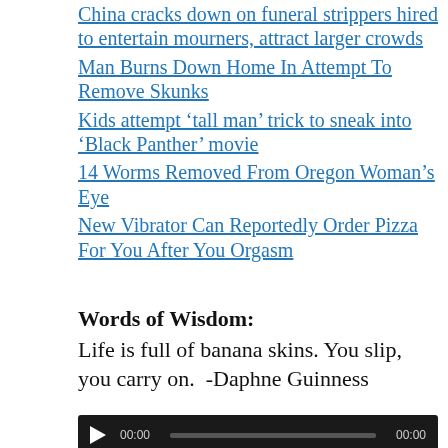China cracks down on funeral strippers hired to entertain mourners, attract larger crowds
Man Burns Down Home In Attempt To Remove Skunks
Kids attempt ‘tall man’ trick to sneak into ‘Black Panther’ movie
14 Worms Removed From Oregon Woman’s Eye
New Vibrator Can Reportedly Order Pizza For You After You Orgasm
Words of Wisdom:
Life is full of banana skins. You slip, you carry on.  -Daphne Guinness
[Figure (other): An audio player widget with a play button, time display showing 00:00, a progress bar, and end time 00:00 on a dark background.]